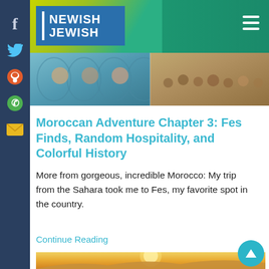NEWISH JEWISH
[Figure (photo): Header photo strip showing Moroccan scenes - colorful tiles/architecture and crowds in a marketplace in Fes, Morocco]
Moroccan Adventure Chapter 3: Fes Finds, Random Hospitality, and Colorful History
More from gorgeous, incredible Morocco: My trip from the Sahara took me to Fes, my favorite spot in the country.
Continue Reading
[Figure (photo): Desert landscape photo showing sandy dunes with golden sunset sky]